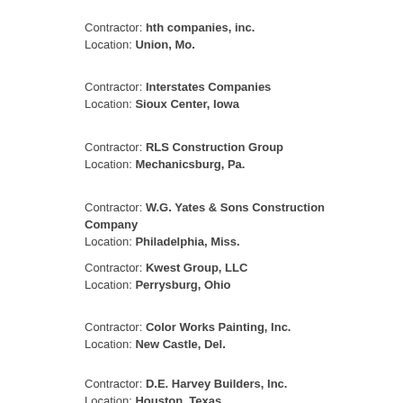Contractor: hth companies, inc. Location: Union, Mo.
Contractor: Interstates Companies Location: Sioux Center, Iowa
Contractor: RLS Construction Group Location: Mechanicsburg, Pa.
Contractor: W.G. Yates & Sons Construction Company Location: Philadelphia, Miss.
Contractor: Kwest Group, LLC Location: Perrysburg, Ohio
Contractor: Color Works Painting, Inc. Location: New Castle, Del.
Contractor: D.E. Harvey Builders, Inc. Location: Houston, Texas